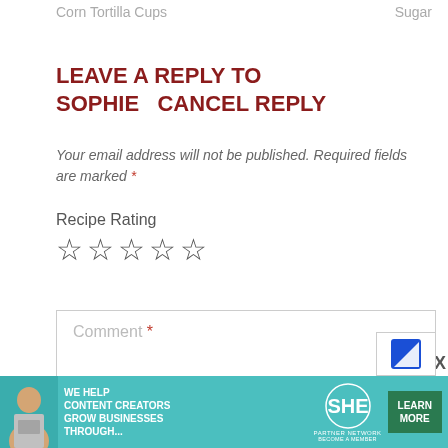Corn Tortilla Cups   Sugar
LEAVE A REPLY TO SOPHIE   CANCEL REPLY
Your email address will not be published. Required fields are marked *
Recipe Rating
[Figure (other): Five empty star rating icons]
[Figure (other): Comment text input box with placeholder text 'Comment *']
[Figure (other): reCAPTCHA badge with blue arrow icon and X close button]
[Figure (other): SHE Media Partner Network advertisement banner with text: WE HELP CONTENT CREATORS GROW BUSINESSES THROUGH... LEARN MORE BECOME A MEMBER]